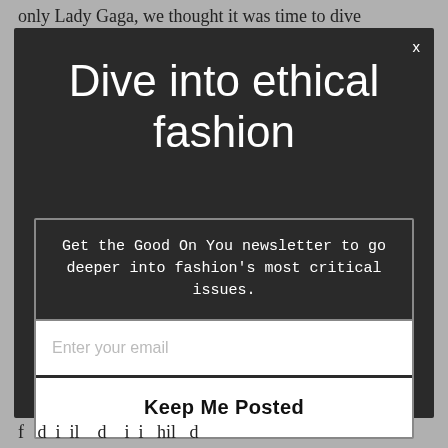only Lady Gaga, we thought it was time to dive
Dive into ethical fashion
Get the Good On You newsletter to go deeper into fashion's most critical issues.
Enter your email
Keep Me Posted
f d i il d i i hil d